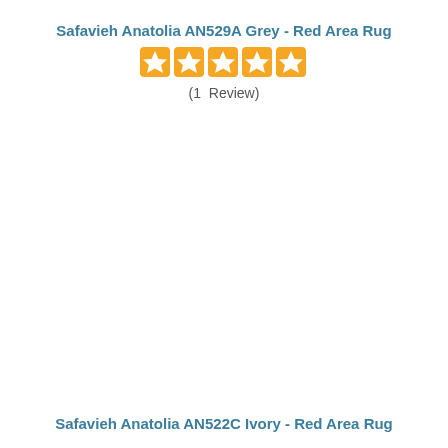Safavieh Anatolia AN529A Grey - Red Area Rug
[Figure (other): Five orange star rating icons displayed in a row]
(1  Review)
Safavieh Anatolia AN522C Ivory - Red Area Rug